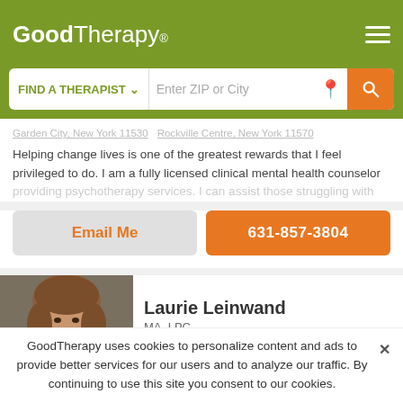GoodTherapy®
FIND A THERAPIST  ∨  Enter ZIP or City
Garden City, New York 11530  Rockville Centre, New York 11570
Helping change lives is one of the greatest rewards that I feel privileged to do. I am a fully licensed clinical mental health counselor providing psychotherapy services. I can assist those struggling with
Email Me
631-857-3804
Laurie Leinwand
MA, LPC
[Figure (photo): Headshot photo of Laurie Leinwand, a woman with medium-length reddish brown hair]
GoodTherapy uses cookies to personalize content and ads to provide better services for our users and to analyze our traffic. By continuing to use this site you consent to our cookies.